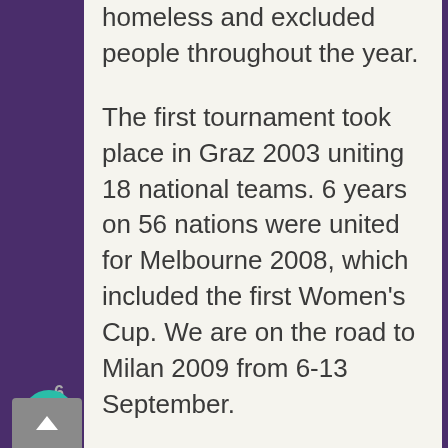homeless and excluded people throughout the year.
The first tournament took place in Graz 2003 uniting 18 national teams. 6 years on 56 nations were united for Melbourne 2008, which included the first Women's Cup. We are on the road to Milan 2009 from 6-13 September.
The impact is consistently significant year on year with 73% of players changing their lives for the better by coming off drugs and alcohol, moving into jobs, education, homes, training, reuniting with families and